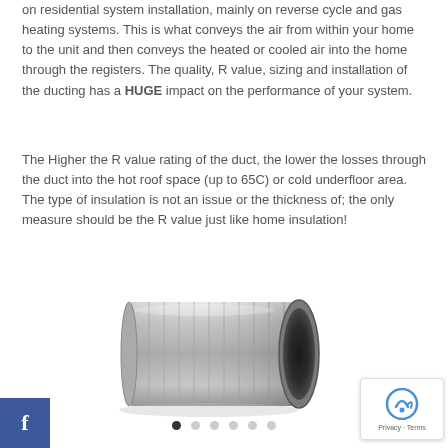on residential system installation, mainly on reverse cycle and gas heating systems. This is what conveys the air from within your home to the unit and then conveys the heated or cooled air into the home through the registers. The quality, R value, sizing and installation of the ducting has a HUGE impact on the performance of your system.
The Higher the R value rating of the duct, the lower the losses through the duct into the hot roof space (up to 65C) or cold underfloor area. The type of insulation is not an issue or the thickness of; the only measure should be the R value just like home insulation!
[Figure (photo): A silver flexible insulated HVAC duct (flexible duct tube) shown horizontally, with a circular dark opening on one end and metallic foil wrapping visible along its length.]